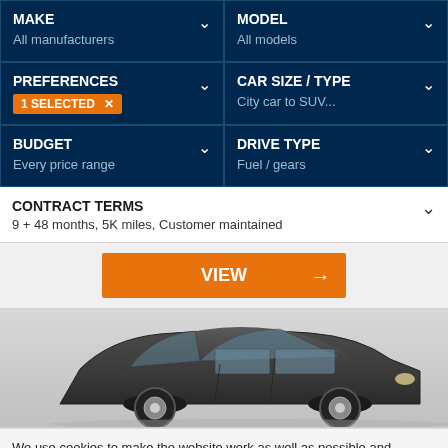| MAKE / All manufacturers | MODEL / All models |
| PREFERENCES / 1 SELECTED | CAR SIZE / TYPE / City car to SUV... |
| BUDGET / Every price range | DRIVE TYPE / Fuel / gears |
CONTRACT TERMS
9 + 48 months, 5K miles, Customer maintained
[Figure (screenshot): Orange VIEW button with arrow]
[Figure (photo): Side view of a dark grey hatchback car]
We use cookies to make the website work as well as possible and improve our services.
✓ ACCEPT COOKIES | Managing cookies